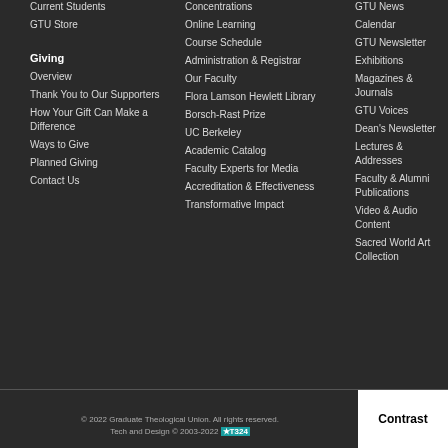Current Students
GTU Store
Giving
Overview
Thank You to Our Supporters
How Your Gift Can Make a Difference
Ways to Give
Planned Giving
Contact Us
Concentrations
Online Learning
Course Schedule
Administration & Registrar
Our Faculty
Flora Lamson Hewlett Library
Borsch-Rast Prize
UC Berkeley
Academic Catalog
Faculty Experts for Media
Accreditation & Effectiveness
Transformative Impact
GTU News
Calendar
GTU Newsletter
Exhibitions
Magazines & Journals
GTU Voices
Dean's Newsletter
Lectures & Addresses
Faculty & Alumni Publications
Video & Audio Content
Sacred World Art Collection
© 2022 Graduate Theological Union. All rights reserved. Tech and Design © 2003-2022 IT324